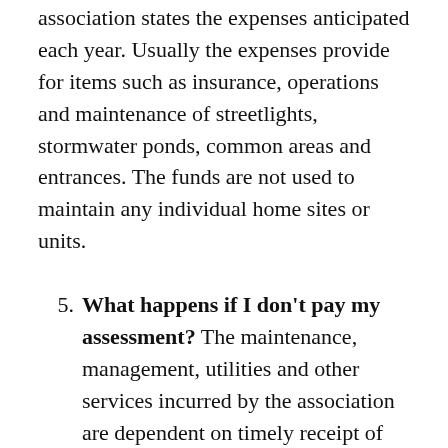association states the expenses anticipated each year. Usually the expenses provide for items such as insurance, operations and maintenance of streetlights, stormwater ponds, common areas and entrances. The funds are not used to maintain any individual home sites or units.
5. What happens if I don't pay my assessment? The maintenance, management, utilities and other services incurred by the association are dependent on timely receipt of the assessments due from each property owner. Late payment will result in a late charge depending on your association's collection's policy, as assessments are due